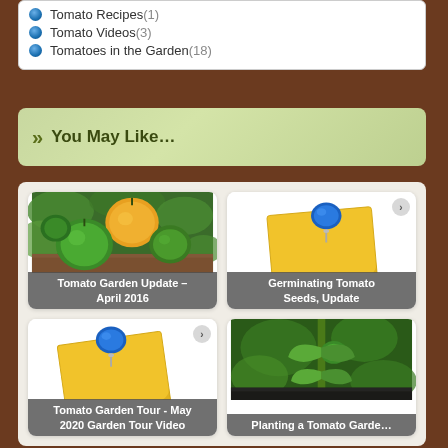Tomato Recipes (1)
Tomato Videos (3)
Tomatoes in the Garden (18)
You May Like...
[Figure (photo): Tomato Garden Update – April 2016: Photo of green and orange tomatoes on vine]
Tomato Garden Update – April 2016
[Figure (illustration): Germinating Tomato Seeds, Update: Blue pushpin on yellow sticky note]
Germinating Tomato Seeds, Update
[Figure (illustration): Tomato Garden Tour - May 2020 Garden Tour Video: Blue pushpin on yellow sticky note]
Tomato Garden Tour - May 2020 Garden Tour Video
[Figure (photo): Planting a Tomato Garden: Green tomato plant seedling with small tomato forming]
Planting a Tomato Garden...